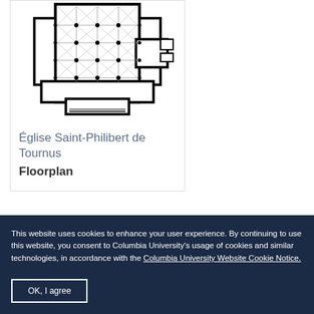[Figure (schematic): Architectural floorplan of Église Saint-Philibert de Tournus, showing a detailed black and white church floor plan with nave, aisles, columns, chapels, and structural grid lines.]
Église Saint-Philibert de Tournus
Floorplan
[Figure (schematic): Partial view of another architectural floorplan or elevation drawing, showing outlines and structural elements.]
This website uses cookies to enhance your user experience. By continuing to use this website, you consent to Columbia University's usage of cookies and similar technologies, in accordance with the Columbia University Website Cookie Notice.
OK, I agree